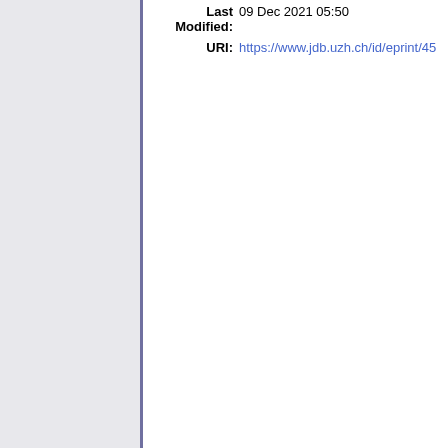Last Modified: 09 Dec 2021 05:50
URI: https://www.jdb.uzh.ch/id/eprint/45...